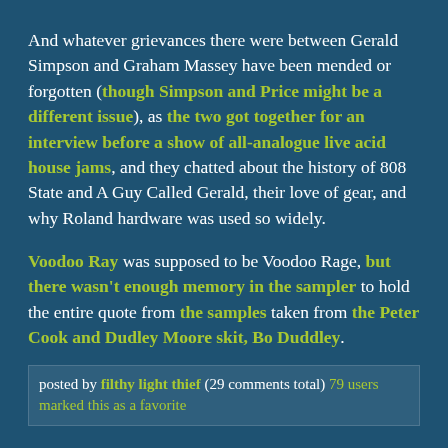And whatever grievances there were between Gerald Simpson and Graham Massey have been mended or forgotten (though Simpson and Price might be a different issue), as the two got together for an interview before a show of all-analogue live acid house jams, and they chatted about the history of 808 State and A Guy Called Gerald, their love of gear, and why Roland hardware was used so widely.
Voodoo Ray was supposed to be Voodoo Rage, but there wasn't enough memory in the sampler to hold the entire quote from the samples taken from the Peter Cook and Dudley Moore skit, Bo Duddley.
posted by filthy light thief (29 comments total) 79 users marked this as a favorite